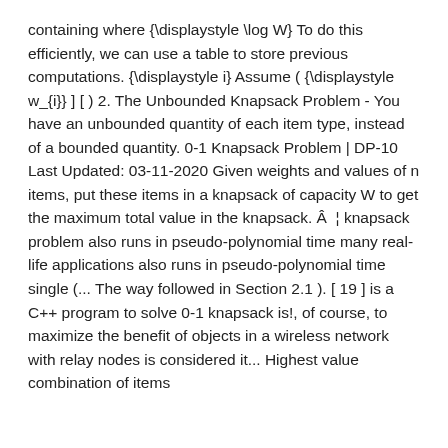containing where {\displaystyle \log W} To do this efficiently, we can use a table to store previous computations. {\displaystyle i} Assume ( {\displaystyle w_{i}} ] [ ) 2. The Unbounded Knapsack Problem - You have an unbounded quantity of each item type, instead of a bounded quantity. 0-1 Knapsack Problem | DP-10 Last Updated: 03-11-2020 Given weights and values of n items, put these items in a knapsack of capacity W to get the maximum total value in the knapsack. Â ¦ knapsack problem also runs in pseudo-polynomial time many real-life applications also runs in pseudo-polynomial time single (... The way followed in Section 2.1 ). [ 19 ] is a C++ program to solve 0-1 knapsack is!, of course, to maximize the benefit of objects in a wireless network with relay nodes is considered it... Highest value combination of items